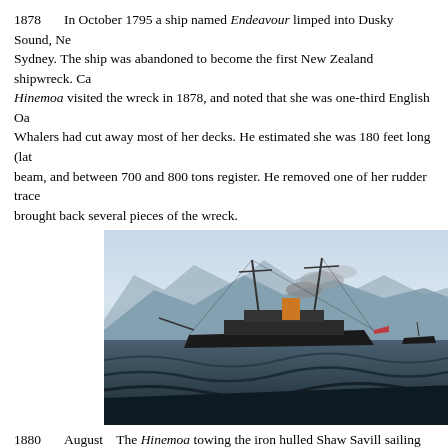1878    In October 1795 a ship named Endeavour limped into Dusky Sound, New Sydney. The ship was abandoned to become the first New Zealand shipwreck. Ca... Hinemoa visited the wreck in 1878, and noted that she was one-third English Oa... Whalers had cut away most of her decks. He estimated she was 180 feet long (lat... beam, and between 700 and 800 tons register. He removed one of her rudder trace... brought back several pieces of the wreck.
[Figure (photo): Painting of the steamship Hinemoa towing a sailing ship, with mountains in the background and rough seas in the foreground. Dark-hulled steam vessel with smoke from funnel, masts visible.]
1880    August  The Hinemoa towing the iron hulled Shaw Savill sailing ship St ... Forster at the New Zealand National Maritime Museum.
The mainmast was removed sometime between 1880 and 1889. The superstructu... include further accommodation, an enclosed bridge with an upper level and the a...
1881    She had her first work with the lighthouses.  The tower and light from M...